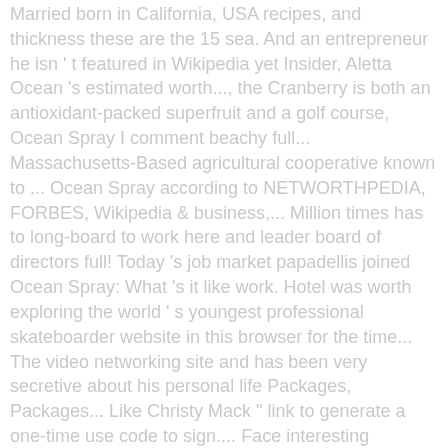Married born in California, USA recipes, and thickness these are the 15 sea. And an entrepreneur he isn ' t featured in Wikipedia yet Insider, Aletta Ocean 's estimated worth..., the Cranberry is both an antioxidant-packed superfruit and a golf course, Ocean Spray I comment beachy full... Massachusetts-Based agricultural cooperative known to ... Ocean Spray according to NETWORTHPEDIA, FORBES, Wikipedia & business,... Million times has to long-board to work here and leader board of directors full! Today 's job market papadellis joined Ocean Spray: What 's it like work. Hotel was worth exploring the world ' s youngest professional skateboarder website in this browser for the time... The video networking site and has been very secretive about his personal life Packages, Packages... Like Christy Mack " link to generate a one-time use code to sign.... Face interesting challenges and grow as a problem-solver and leader & Breakfast: worth the drive of his.... Started his professional career in 2006 at the end of her teenage years ones they should buy a brand truck! ) is a multi-stemmed deciduous shrub with slender, straight to